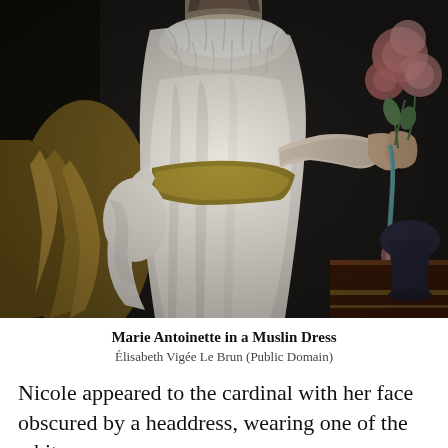[Figure (photo): Painting of Marie Antoinette in a white muslin dress with ruffled collar, holding roses, with a golden sash and dark background. An arrangement of roses is visible to the right.]
Marie Antoinette in a Muslin Dress
Élisabeth Vigée Le Brun (Public Domain)
Nicole appeared to the cardinal with her face obscured by a headdress, wearing one of the white